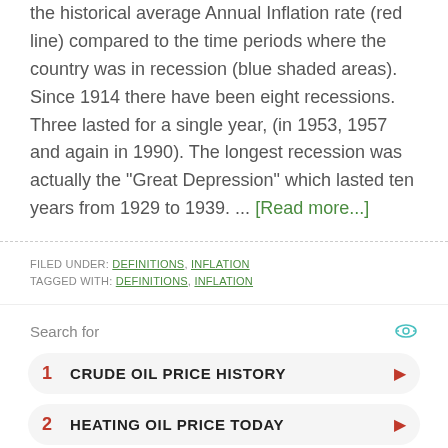the historical average Annual Inflation rate (red line) compared to the time periods where the country was in recession (blue shaded areas). Since 1914 there have been eight recessions. Three lasted for a single year, (in 1953, 1957 and again in 1990). The longest recession was actually the "Great Depression" which lasted ten years from 1929 to 1939. ... [Read more...]
FILED UNDER: DEFINITIONS, INFLATION
TAGGED WITH: DEFINITIONS, INFLATION
Search for
1  CRUDE OIL PRICE HISTORY
2  HEATING OIL PRICE TODAY